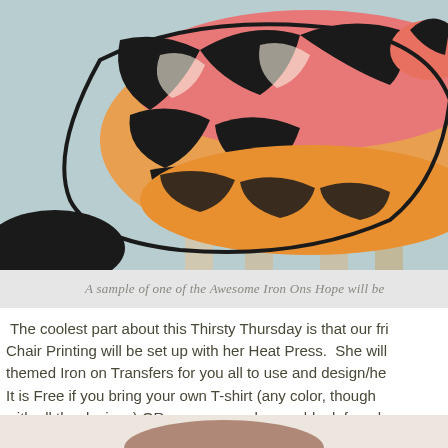[Figure (illustration): Colorful artistic illustration of a zebra with pink, orange, and yellow stripes against a light blue-grey background.]
A sample of one of the Awesome Iron Ons Hope will be
The coolest part about this Thirsty Thursday is that our fri Chair Printing will be set up with her Heat Press. She will themed Iron on Transfers for you all to use and design/he It is Free if you bring your own T-shirt (any color, though with all the designs) OR you can purchase a blank from h
And that's not all! Enjoy 20% off all regularly priced items you! Because we like you and we'll all be drinking.
[Figure (photo): Partial photo visible at the bottom of the page, appears to show a person or item, cropped.]